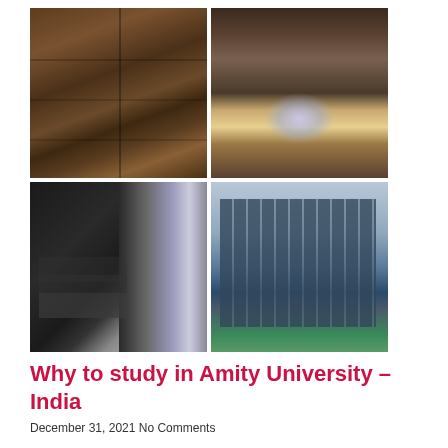[Figure (photo): 2x2 grid of four photographs: top-left shows library bookshelves with books; top-right shows a historic library hall interior with light streaming through windows; bottom-left shows a modern study space interior with large glass windows and student desks; bottom-right shows a modern university building exterior with glass facade and green lawn]
Why to study in Amity University – India
December 31, 2021 No Comments